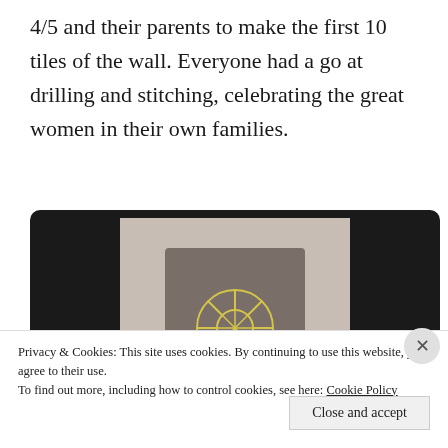4/5 and their parents to make the first 10 tiles of the wall. Everyone had a go at drilling and stitching, celebrating the great women in their own families.
[Figure (photo): A screenshot of a video player showing a dark slate/stone tile with a yellow geometric stitched pattern (resembling a web or mandala) on a light background, displayed in a dark laptop/player frame.]
Privacy & Cookies: This site uses cookies. By continuing to use this website, you agree to their use.
To find out more, including how to control cookies, see here: Cookie Policy